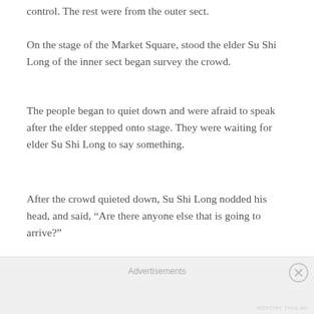control. The rest were from the outer sect.
On the stage of the Market Square, stood the elder Su Shi Long of the inner sect began survey the crowd.
The people began to quiet down and were afraid to speak after the elder stepped onto stage. They were waiting for elder Su Shi Long to say something.
After the crowd quieted down, Su Shi Long nodded his head, and said, “Are there anyone else that is going to arrive?”
“Reporting to elder. Other than Su Da, Su Xin Lu and a
Advertisements